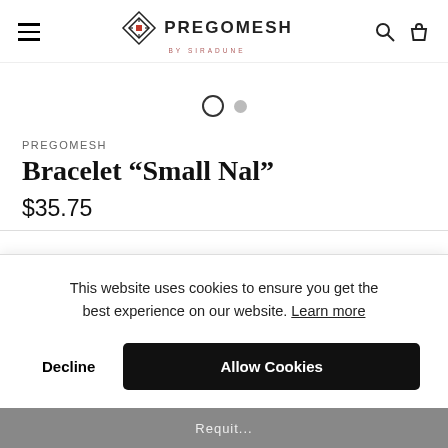PREGOMESH — navigation header with hamburger menu, logo, search and bag icons
[Figure (other): Carousel pagination dots: one active (outlined circle) and one inactive (filled grey circle)]
PREGOMESH
Bracelet “Small Nal”
$35.75
This website uses cookies to ensure you get the best experience on our website. Learn more
Decline
Allow Cookies